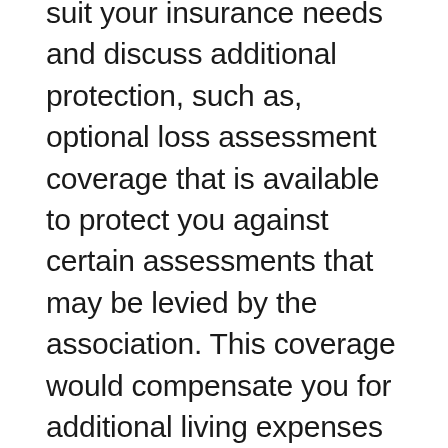suit your insurance needs and discuss additional protection, such as, optional loss assessment coverage that is available to protect you against certain assessments that may be levied by the association. This coverage would compensate you for additional living expenses incurred, should you need to vacate your condo after a covered loss.
Be sure to consult your HOA agreement to determine what the Association policy covers and what you are responsible for, i.e., if common areas are damaged, your condo association may levy assessments against all the owners to pay the deductible on their association policy.